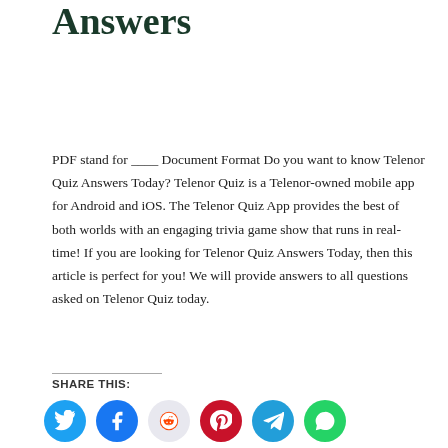Today Telenor Quiz Answers
PDF stand for ____ Document Format Do you want to know Telenor Quiz Answers Today? Telenor Quiz is a Telenor-owned mobile app for Android and iOS. The Telenor Quiz App provides the best of both worlds with an engaging trivia game show that runs in real-time! If you are looking for Telenor Quiz Answers Today, then this article is perfect for you! We will provide answers to all questions asked on Telenor Quiz today.
SHARE THIS:
[Figure (infographic): Row of six social media share buttons as colored circles: Twitter (blue), Facebook (blue), Reddit (light gray/purple), Pinterest (red), Telegram (blue), WhatsApp (green)]